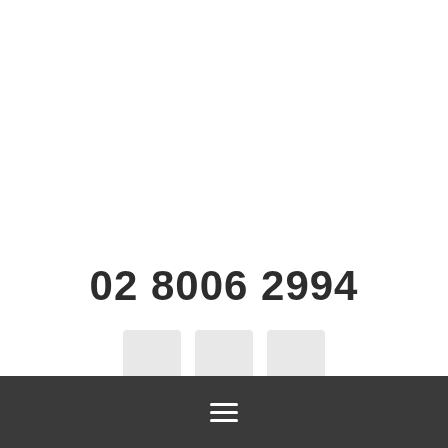02 8006 2994
[Figure (infographic): Three light grey placeholder icon boxes arranged in a row]
Hamburger menu icon (three horizontal lines)